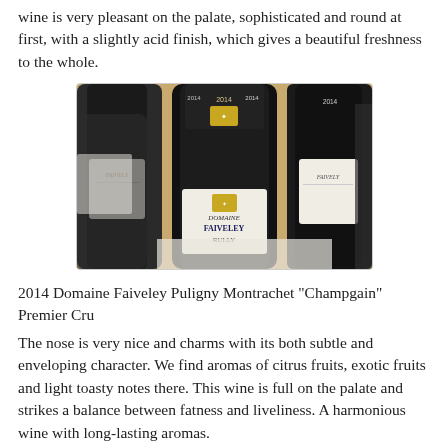wine is very pleasant on the palate, sophisticated and round at first, with a slightly acid finish, which gives a beautiful freshness to the whole.
[Figure (photo): Photo of multiple bottles of Domaine Faiveley wine, with the center bottle labeled 'Domaine Faiveley Rully', showing white label with gold crest, vintage 2014 on capsule.]
2014 Domaine Faiveley Puligny Montrachet "Champgain" Premier Cru
The nose is very nice and charms with its both subtle and enveloping character. We find aromas of citrus fruits, exotic fruits and light toasty notes there. This wine is full on the palate and strikes a balance between fatness and liveliness. A harmonious wine with long-lasting aromas.